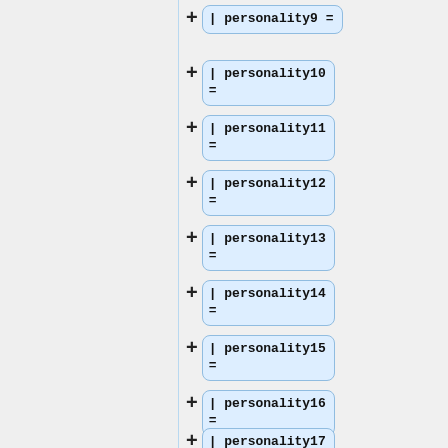[Figure (flowchart): A vertical list of template parameter nodes labeled personality9 through personality17, each shown as a blue rounded box with a + connector on the left, arranged in a flowchart/infobox template editor style.]